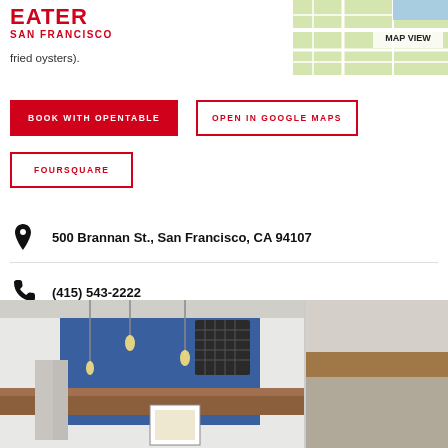EATER SAN FRANCISCO
[Figure (map): MAP VIEW thumbnail of San Francisco map with roads]
fried oysters).
BOOK WITH OPENTABLE
OPEN IN GOOGLE MAPS
FOURSQUARE
500 Brannan St., San Francisco, CA 94107
(415) 543-2222
Visit Website
[Figure (photo): Interior photo of restaurant with blue walls, pendant lights, and wood counter]